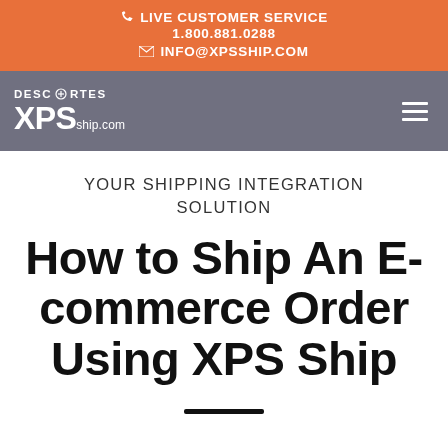LIVE CUSTOMER SERVICE 1.800.881.0288 INFO@XPSSHIP.COM
[Figure (logo): Descartes + XPSship.com logo on gray navigation bar with hamburger menu]
YOUR SHIPPING INTEGRATION SOLUTION
How to Ship An E-commerce Order Using XPS Ship